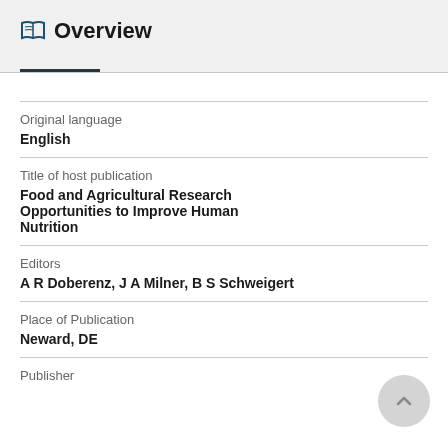Overview
Original language
English
Title of host publication
Food and Agricultural Research Opportunities to Improve Human Nutrition
Editors
A R Doberenz, J A Milner, B S Schweigert
Place of Publication
Neward, DE
Publisher